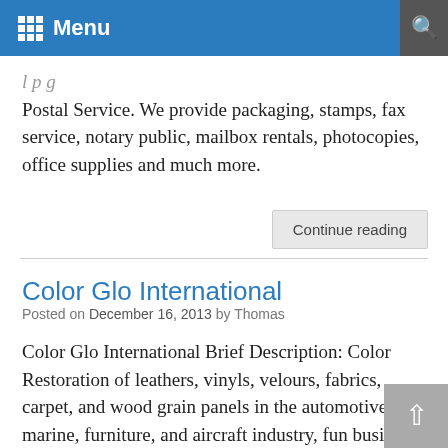Menu
Postal Service. We provide packaging, stamps, fax service, notary public, mailbox rentals, photocopies, office supplies and much more.
Continue reading
Color Glo International
Posted on December 16, 2013 by Thomas
Color Glo International Brief Description: Color Restoration of leathers, vinyls, velours, fabrics, carpet, and wood grain panels in the automotive, marine, furniture, and aircraft industry, fun business Color Glo® has developed and provides exclusive proprietary products and patented methods which are today providing our franchises a quality of life most people can only dream of. [...]